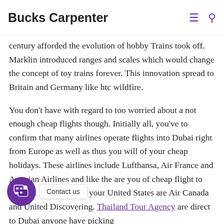Bucks Carpenter
people drive their cars. With superior technology that the 20th century afforded the evolution of hobby Trains took off. Marklin introduced ranges and scales which would change the concept of toy trains forever. This innovation spread to Britain and Germany like htc wildfire.
You don't have with regard to too worried about a not enough cheap flights though. Initially all, you've to confirm that many airlines operate flights into Dubai right from Europe as well as thus you will of your cheap holidays. These airlines include Lufthansa, Air France and Austrian Airlines and like the are you of cheap flight to Europe. Others op. f your United States are Air Canada and United Discovering. Thailand Tour Agency are direct to Dubai anyone have picking